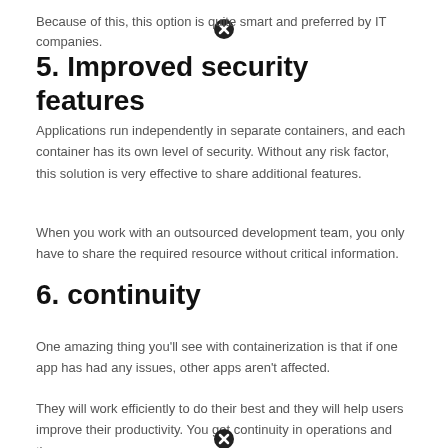[Figure (other): Close/cancel icon (circle with X) at top center of page]
Because of this, this option is quite smart and preferred by IT companies.
5. Improved security features
Applications run independently in separate containers, and each container has its own level of security. Without any risk factor, this solution is very effective to share additional features.
When you work with an outsourced development team, you only have to share the required resource without critical information.
6. continuity
One amazing thing you'll see with containerization is that if one app has had any issues, other apps aren't affected.
They will work efficiently to do their best and they will help users improve their productivity. You get continuity in operations and there are no
[Figure (other): Close/cancel icon (circle with X) at bottom center of page]